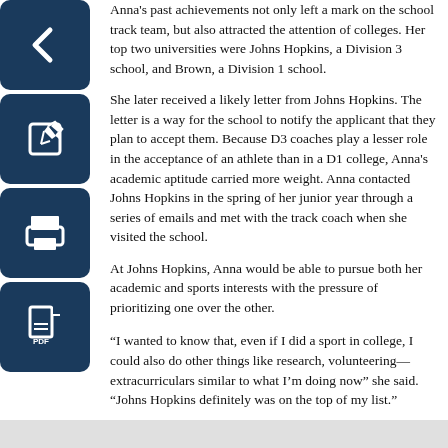[Figure (illustration): Dark blue rounded square icon with a left-pointing arrow (back navigation button)]
[Figure (illustration): Dark blue rounded square icon with a pencil/edit symbol]
[Figure (illustration): Dark blue rounded square icon with a printer symbol]
[Figure (illustration): Dark blue rounded square icon with a PDF/document symbol]
Anna's past achievements not only left a mark on the school track team, but also attracted the attention of colleges. Her top two universities were Johns Hopkins, a Division 3 school, and Brown, a Division 1 school.
She later received a likely letter from Johns Hopkins. The letter is a way for the school to notify the applicant that they plan to accept them. Because D3 coaches play a lesser role in the acceptance of an athlete than in a D1 college, Anna's academic aptitude carried more weight. Anna contacted Johns Hopkins in the spring of her junior year through a series of emails and met with the track coach when she visited the school.
At Johns Hopkins, Anna would be able to pursue both her academic and sports interests with the pressure of prioritizing one over the other.
“I wanted to know that, even if I did a sport in college, I could also do other things like research, volunteering—extracurriculars similar to what I’m doing now” she said. “Johns Hopkins definitely was on the top of my list.”